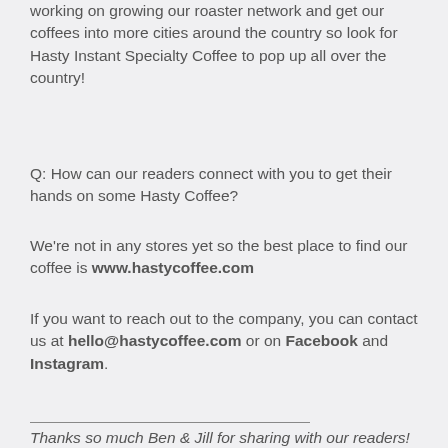working on growing our roaster network and get our coffees into more cities around the country so look for Hasty Instant Specialty Coffee to pop up all over the country!
Q: How can our readers connect with you to get their hands on some Hasty Coffee?
We're not in any stores yet so the best place to find our coffee is www.hastycoffee.com
If you want to reach out to the company, you can contact us at hello@hastycoffee.com or on Facebook and Instagram.
Thanks so much Ben & Jill for sharing with our readers!